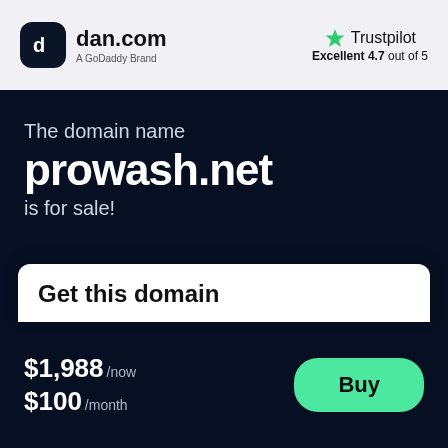[Figure (logo): dan.com logo — dark rounded square icon with stylized 'd' and text 'dan.com' with 'A GoDaddy Brand' subtitle]
[Figure (logo): Trustpilot logo with green star and text 'Trustpilot', below: 'Excellent 4.7 out of 5']
The domain name
prowash.net
is for sale!
Get this domain
$1,988 /now
$100 /month
[Figure (other): Green 'Buy' button]